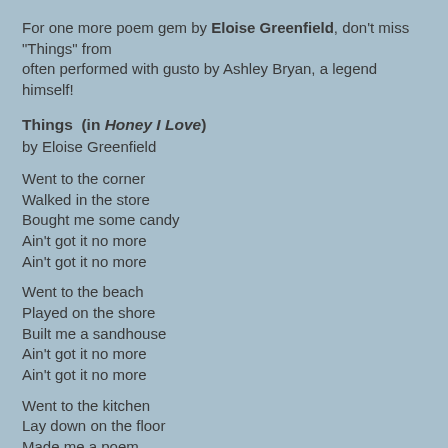For one more poem gem by Eloise Greenfield, don't miss "Things" from often performed with gusto by Ashley Bryan, a legend himself!
Things  (in Honey I Love) by Eloise Greenfield
Went to the corner
Walked in the store
Bought me some candy
Ain't got it no more
Ain't got it no more
Went to the beach
Played on the shore
Built me a sandhouse
Ain't got it no more
Ain't got it no more
Went to the kitchen
Lay down on the floor
Made me a poem
Still got it
Still got it